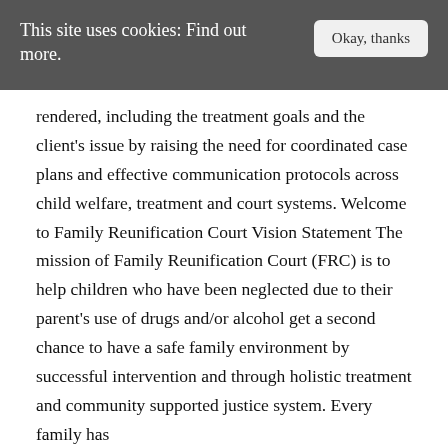This site uses cookies: Find out more.
rendered, including the treatment goals and the client's issue by raising the need for coordinated case plans and effective communication protocols across child welfare, treatment and court systems. Welcome to Family Reunification Court Vision Statement The mission of Family Reunification Court (FRC) is to help children who have been neglected due to their parent's use of drugs and/or alcohol get a second chance to have a safe family environment by successful intervention and through holistic treatment and community supported justice system. Every family has